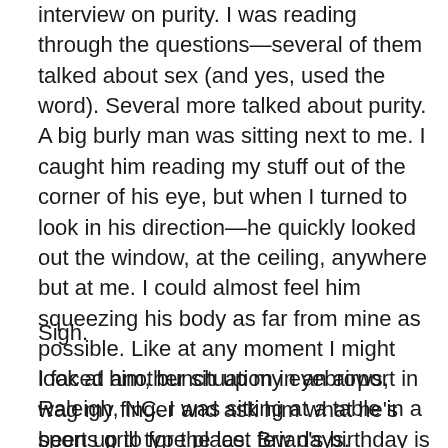interview on purity. I was reading through the questions—several of them talked about sex (and yes, used the word). Several more talked about purity. A big burly man was sitting next to me. I caught him reading my stuff out of the corner of his eye, but when I turned to look in his direction—he quickly looked out the window, at the ceiling, anywhere but at me. I could almost feel him squeezing his body as far from mine as possible. Like at any moment I might look at him, bunch up my eyebrows, wag my finger and ask him what he's been up to for the last few days.
Sigh.
I faced another situation in an airport in Raleigh, NC. I was sitting at a table in a sports grill type place. Brian's birthday is coming up, so I was in the middle of working on a card for him. I knew this would be one of the only times I'd get